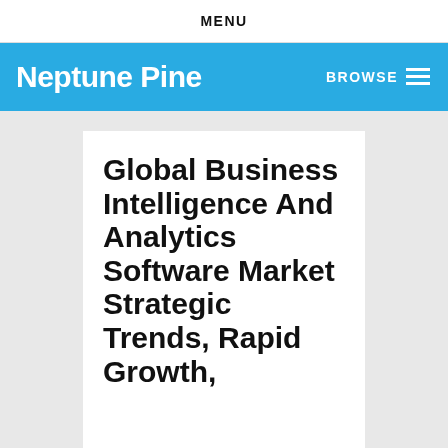MENU
Neptune Pine   BROWSE
Global Business Intelligence And Analytics Software Market Strategic Trends, Rapid Growth,